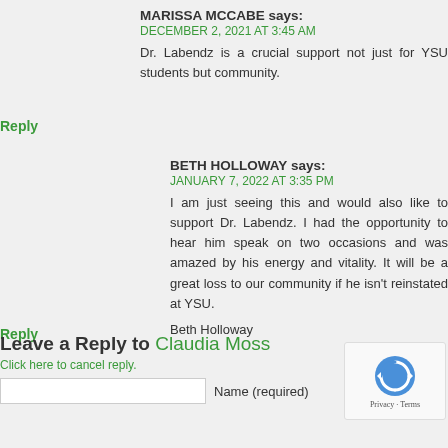MARISSA MCCABE says:
DECEMBER 2, 2021 AT 3:45 AM
Dr. Labendz is a crucial support not just for YSU students but community.
Reply
BETH HOLLOWAY says:
JANUARY 7, 2022 AT 3:35 PM
I am just seeing this and would also like to support Dr. Labendz. I had the opportunity to hear him speak on two occasions and was amazed by his energy and vitality. It will be a great loss to our community if he isn't reinstated at YSU.
Beth Holloway
Reply
Leave a Reply to Claudia Moss
Click here to cancel reply.
Name (required)